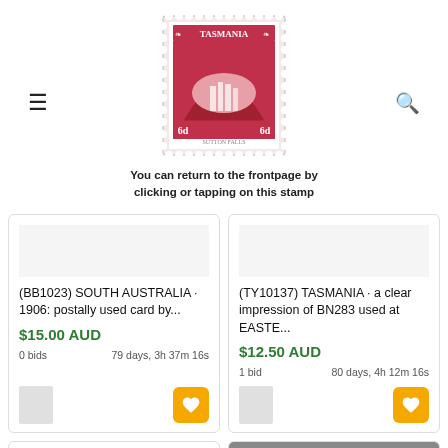≡  [Tasmania stamp logo]  🔍
[Figure (illustration): Red Tasmania 6d stamp showing waterfall/landscape, with perforated edges]
You can return to the frontpage by clicking or tapping on this stamp
(BB1023) SOUTH AUSTRALIA · 1906: postally used card by...
$15.00 AUD
0 bids   79 days, 3h 37m 16s
(TY10137) TASMANIA · a clear impression of BN283 used at EASTE...
$12.50 AUD
1 bid   80 days, 4h 12m 16s